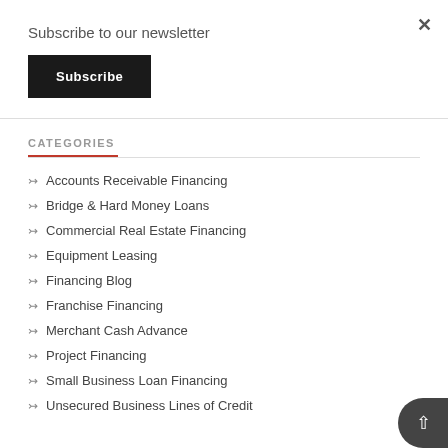Subscribe to our newsletter
Subscribe
CATEGORIES
Accounts Receivable Financing
Bridge & Hard Money Loans
Commercial Real Estate Financing
Equipment Leasing
Financing Blog
Franchise Financing
Merchant Cash Advance
Project Financing
Small Business Loan Financing
Unsecured Business Lines of Credit